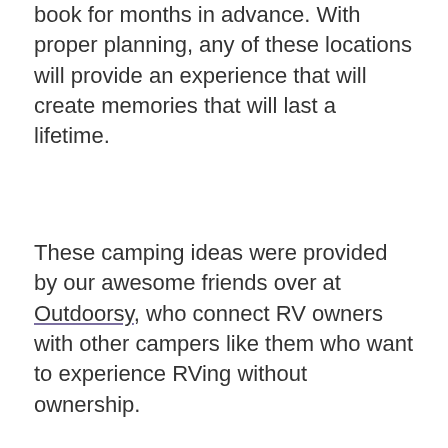book for months in advance. With proper planning, any of these locations will provide an experience that will create memories that will last a lifetime.
These camping ideas were provided by our awesome friends over at Outdoorsy, who connect RV owners with other campers like them who want to experience RVing without ownership.
SHARE: [Facebook icon] [Twitter icon] [Pinterest icon]
Kelly Long
Kelly Long works on the content development team at Outdoorsy, an RV...